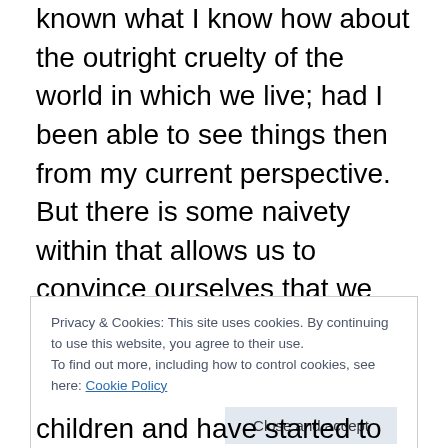known what I know how about the outright cruelty of the world in which we live; had I been able to see things then from my current perspective. But there is some naivety within that allows us to convince ourselves that we can protect them – that we'll be much better parents than the rest; that all the craziness won't somehow affect our own. Had I been fully aware of what evils would line up in opposition to my seed's intrinsically good-hearted nature and desire to survive, boy, would I have chosen differently! At least that's how I feel today. I express this openly, harboring no feelings of remorse nor regret for my
Privacy & Cookies: This site uses cookies. By continuing to use this website, you agree to their use. To find out more, including how to control cookies, see here: Cookie Policy
Close and accept
children and have started to be in are not the last of